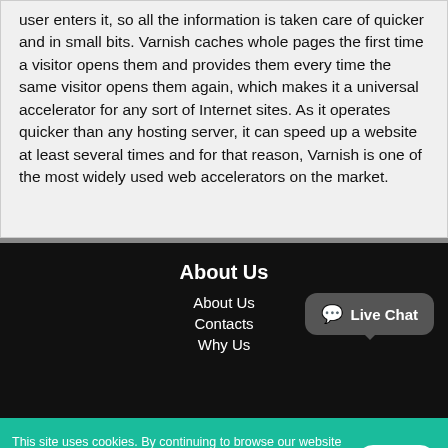user enters it, so all the information is taken care of quicker and in small bits. Varnish caches whole pages the first time a visitor opens them and provides them every time the same visitor opens them again, which makes it a universal accelerator for any sort of Internet sites. As it operates quicker than any hosting server, it can speed up a website at least several times and for that reason, Varnish is one of the most widely used web accelerators on the market.
About Us
About Us
Contacts
Why Us
[Figure (other): Live Chat button/bubble with speech icon]
This site uses cookies. By continuing to browse our website you are giving your permission to our use of cookies. Find out more about this here.